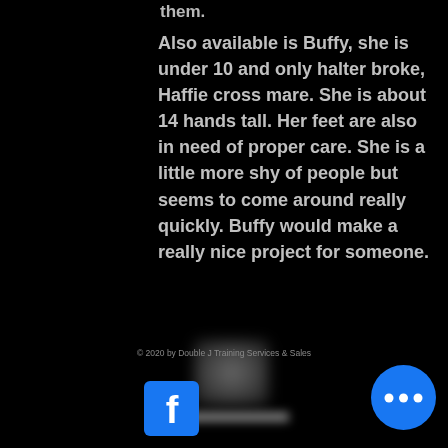them.
Also available is Buffy, she is under 10 and only halter broke, Haffie cross mare. She is about 14 hands tall. Her feet are also in need of proper care. She is a little more shy of people but seems to come around really quickly. Buffy would make a really nice project for someone.
[Figure (photo): Blurred/redacted profile photo and name]
© 2020 by Double J Training Services & Sales